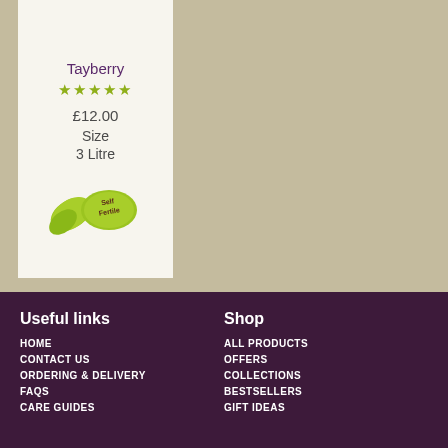[Figure (other): Product card showing Tayberry plant with 5-star rating, price £12.00, size 3 Litre, and a Self Fertile badge with green leaf logo, on a cream/off-white card against a tan kraft paper background]
Useful links
Shop
HOME
CONTACT US
ORDERING & DELIVERY
FAQS
CARE GUIDES
ALL PRODUCTS
OFFERS
COLLECTIONS
BESTSELLERS
GIFT IDEAS